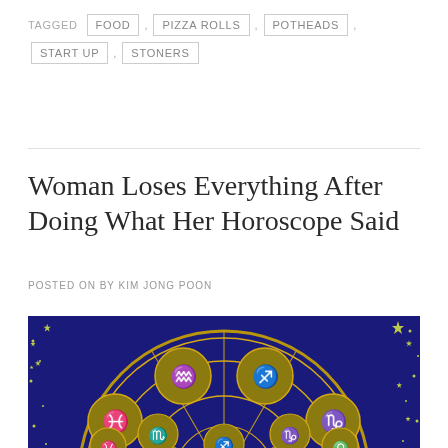TAGGED  FOOD  ,  PIZZA ROLLS  ,  POTHEADS  ,  START UP  ,  STONERS
Woman Loses Everything After Doing What Her Horoscope Said
POSTED ON BY KIM JONG POON
[Figure (illustration): Zodiac wheel illustration on dark blue background with gold circular segments containing zodiac symbols, surrounded by yellow stars]